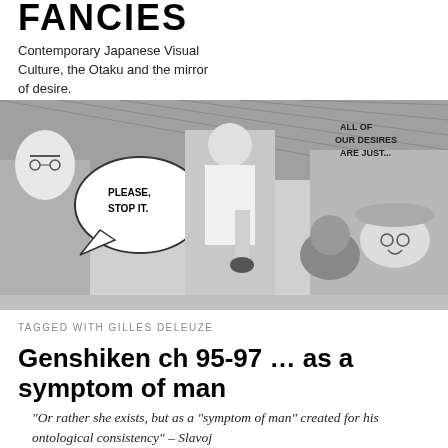FANCIES
Contemporary Japanese Visual Culture, the Otaku and the mirror of desire.
[Figure (illustration): Manga-style black and white comic panel showing several characters. A speech bubble on the left reads 'PLEASE, STOP IT.' and text on the right reads 'ALL OF OUR DESIRES ARE JUST...']
TAGGED WITH GILLES DELEUZE
Genshiken ch 95-97 … as a symptom of man
“Or rather she exists, but as a “symptom of man” created for his ontological consistency” – Slavoj